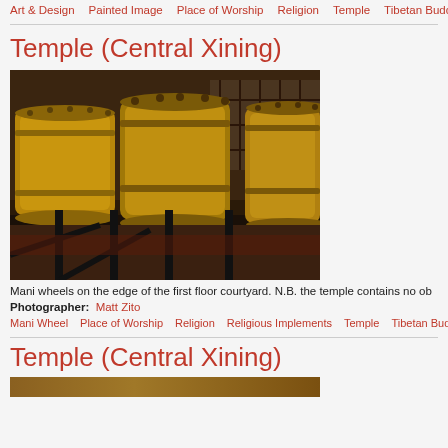Art & Design   Painted Image   Place of Worship   Religion   Temple   Tibetan Buddhism
Temple (Central Xining)
[Figure (photo): Brass/bronze Mani prayer wheels on a metal rack at the edge of a temple courtyard, with wooden temple architecture visible in the background. Three large ornate cylindrical wheels are visible.]
Mani wheels on the edge of the first floor courtyard. N.B. the temple contains no ob
Photographer:  Matt Zito
Mani Wheel   Place of Worship   Religion   Religious Implements   Temple   Tibetan Bud
Temple (Central Xining)